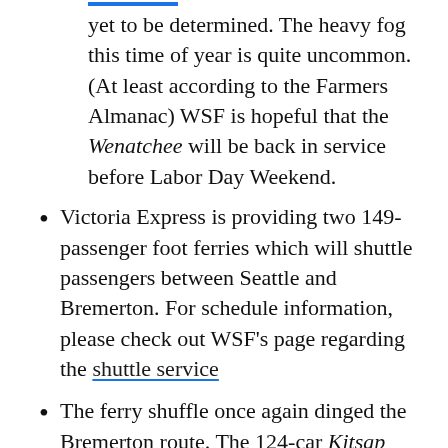yet to be determined. The heavy fog this time of year is quite uncommon. (At least according to the Farmers Almanac) WSF is hopeful that the Wenatchee will be back in service before Labor Day Weekend.
Victoria Express is providing two 149-passenger foot ferries which will shuttle passengers between Seattle and Bremerton. For schedule information, please check out WSF's page regarding the shuttle service
The ferry shuffle once again dinged the Bremerton route. The 124-car Kitsap will provide the sole service on this route until further notice. The normal ferry, the Hyak, will serve the Edmonds/Kingston route until further notice. The 202-car Puyallup will serve the Seattle/Bainbridge route which will restore its